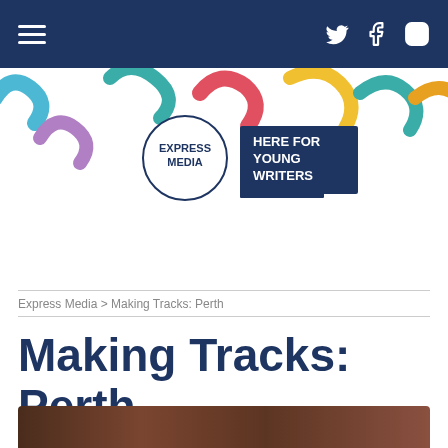Express Media — Here for Young Writers — navigation bar with hamburger menu and social icons (Twitter, Facebook, Instagram)
[Figure (logo): Express Media logo: circle with 'EXPRESS MEDIA' text, beside a dark navy box reading 'HERE FOR YOUNG WRITERS', set against a colorful squiggles banner]
Search …
Express Media > Making Tracks: Perth
Making Tracks: Perth
[Figure (photo): Bottom edge of a photograph, partially visible — appears to show an indoor scene]